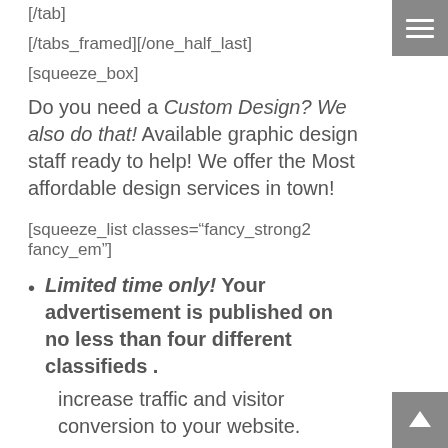[/tab]
[/tabs_framed][/one_half_last]
[squeeze_box]
Do you need a Custom Design? We also do that! Available graphic design staff ready to help! We offer the Most affordable design services in town!
[squeeze_list classes="fancy_strong2 fancy_em"]
Limited time only! Your advertisement is published on no less than four different classifieds .
increase traffic and visitor conversion to your website.
Special! Add a movie to your online live ad